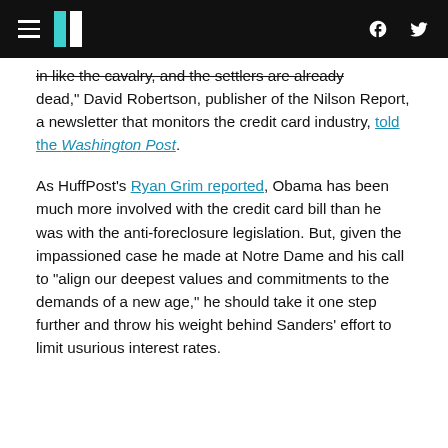HuffPost navigation header with hamburger menu, logo, Facebook and Twitter icons
in like the cavalry, and the settlers are already dead," David Robertson, publisher of the Nilson Report, a newsletter that monitors the credit card industry, told the Washington Post.
As HuffPost's Ryan Grim reported, Obama has been much more involved with the credit card bill than he was with the anti-foreclosure legislation. But, given the impassioned case he made at Notre Dame and his call to "align our deepest values and commitments to the demands of a new age," he should take it one step further and throw his weight behind Sanders' effort to limit usurious interest rates.